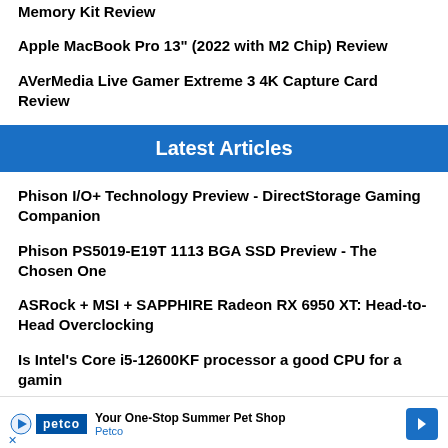Memory Kit Review
Apple MacBook Pro 13" (2022 with M2 Chip) Review
AVerMedia Live Gamer Extreme 3 4K Capture Card Review
Latest Articles
Phison I/O+ Technology Preview - DirectStorage Gaming Companion
Phison PS5019-E19T 1113 BGA SSD Preview - The Chosen One
ASRock + MSI + SAPPHIRE Radeon RX 6950 XT: Head-to-Head Overclocking
Is Intel's Core i5-12600KF processor a good CPU for a gaming...
[Figure (other): Petco advertisement banner: 'Your One-Stop Summer Pet Shop' with Petco logo, play button, navigation arrow, and close button]